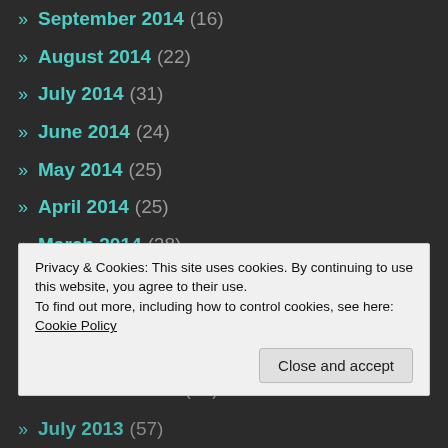» September 2014 (16)
» August 2014 (22)
» July 2014 (31)
» June 2014 (24)
» May 2014 (25)
» April 2014 (25)
» March 2014 (28)
» February 2014 (23)
» January 2014 (31)
» December 2013 (29)
» November 2013 (49)
Privacy & Cookies: This site uses cookies. By continuing to use this website, you agree to their use. To find out more, including how to control cookies, see here: Cookie Policy
» July 2013 (57)